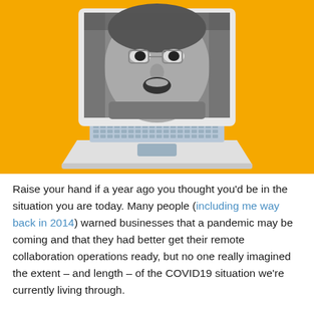[Figure (illustration): Illustration of a laptop computer with an orange background. The laptop screen shows a black-and-white photo of a man with glasses making an alarmed/shocked face, leaning close to the camera. The laptop body is white/light gray with a blue-gray keyboard area and a touchpad.]
Raise your hand if a year ago you thought you'd be in the situation you are today. Many people (including me way back in 2014) warned businesses that a pandemic may be coming and that they had better get their remote collaboration operations ready, but no one really imagined the extent – and length – of the COVID19 situation we're currently living through.